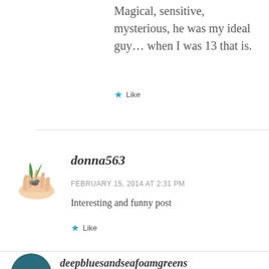Magical, sensitive, mysterious, he was my ideal guy… when I was 13 that is.
★ Like
donna563
FEBRUARY 15, 2014 AT 2:31 PM
Interesting and funny post
★ Like
deepbluesandseafoamgreens